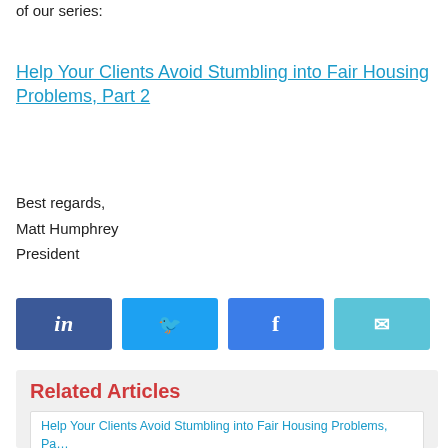of our series:
Help Your Clients Avoid Stumbling into Fair Housing Problems, Part 2
Best regards,
Matt Humphrey
President
[Figure (infographic): Four social share buttons: LinkedIn (dark blue), Twitter (blue), Facebook (medium blue), Email (teal/light blue), each with icon]
Related Articles
Help Your Clients Avoid Stumbling into Fair Housing Problems, Pa…
Adult Supervision Rule for Playground Was Discriminatory